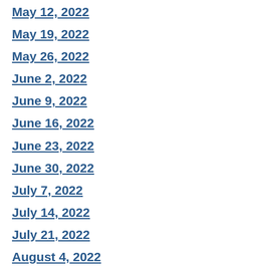May 12, 2022
May 19, 2022
May 26, 2022
June 2, 2022
June 9, 2022
June 16, 2022
June 23, 2022
June 30, 2022
July 7, 2022
July 14, 2022
July 21, 2022
August 4, 2022
August 11, 2022